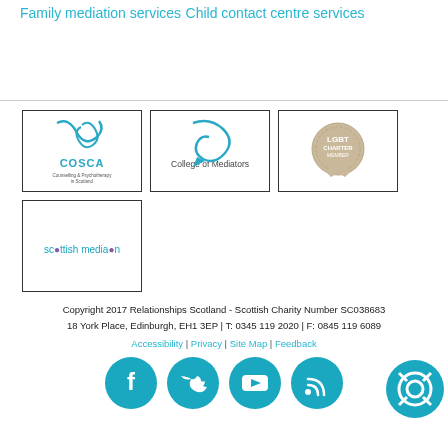Family mediation services
Child contact centre services
[Figure (logo): COSCA - Counselling & Psychotherapy in Scotland logo]
[Figure (logo): College of Mediators logo]
[Figure (logo): LGBT Charter Member logo]
[Figure (logo): Scottish Mediation logo]
Copyright 2017 Relationships Scotland - Scottish Charity Number SC038683
18 York Place, Edinburgh, EH1 3EP | T: 0345 119 2020 | F: 0845 119 6089
Accessibility | Privacy | Site Map | Feedback